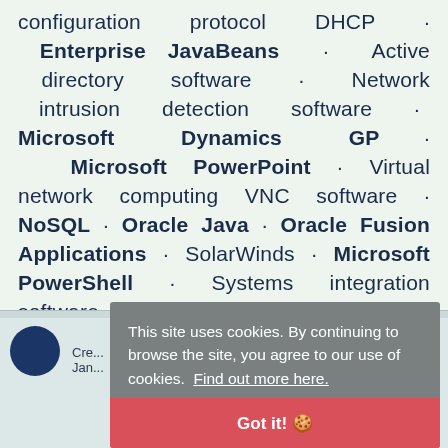configuration protocol DHCP · Enterprise JavaBeans · Active directory software · Network intrusion detection software · Microsoft Dynamics GP · Microsoft PowerPoint · Virtual network computing VNC software · NoSQL · Oracle Java · Oracle Fusion Applications · SolarWinds · Microsoft PowerShell · Systems integration software
Cre... Jan...
This site uses cookies. By continuing to browse the site, you agree to our use of cookies. Find out more here.
Got it! 🍪